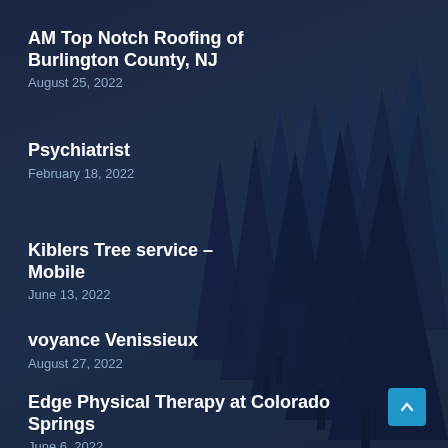[Figure (illustration): Dark navy blue background with silhouetted evergreen/pine tree forest in varying shades of dark blue-grey, creating a misty forest atmosphere]
AM Top Notch Roofing of Burlington County, NJ
August 25, 2022
Psychiatrist
February 18, 2022
Kiblers Tree service – Mobile
June 13, 2022
voyance Venissieux
August 27, 2022
Edge Physical Therapy at Colorado Springs
June 6, 2022